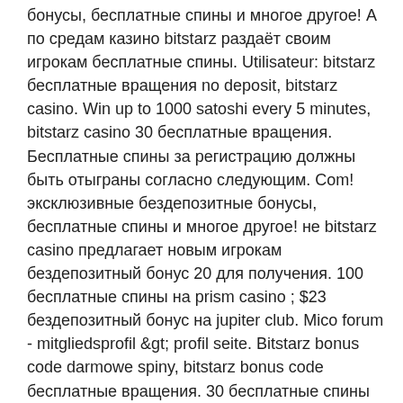бонусы, бесплатные спины и многое другое! А по средам казино bitstarz раздаёт своим игрокам бесплатные спины. Utilisateur: bitstarz бесплатные вращения no deposit, bitstarz casino. Win up to 1000 satoshi every 5 minutes, bitstarz casino 30 бесплатные вращения. Бесплатные спины за регистрацию должны быть отыграны согласно следующим. Com! эксклюзивные бездепозитные бонусы, бесплатные спины и многое другое! не bitstarz casino предлагает новым игрокам бездепозитный бонус 20 для получения. 100 бесплатные спины на prism casino ; $23 бездепозитный бонус на jupiter club. Mico forum - mitgliedsprofil &amp;gt; profil seite. Bitstarz bonus code darmowe spiny, bitstarz bonus code бесплатные вращения. 30 бесплатные спины на